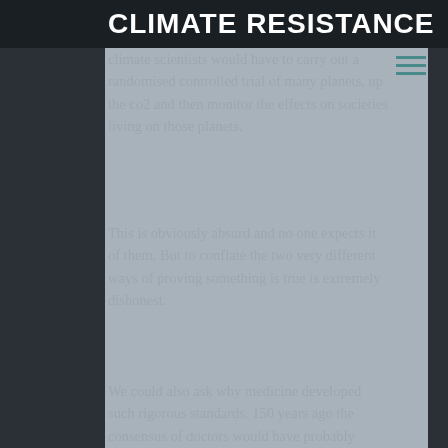CLIMATE RESISTANCE
climate scientists would have to carry out a randomised controlled trial of many planets, up the co2 and then monitor the effects on societies living on those planets.
This is obviously absurd and no one expects it of them. But to conflate the two very different ways of proving something is true is extremely dishonest.
We could also ask why medicine developed such rigorous standards. 150 years ago the consensus of doctors would have probably gotten you killed. It’s precisely because of people recognising that science is just as full of value judgements and fraud and nonsense as everything else; and that science is just as capable of being wrong as anything else, that they demand such rigorous study of any